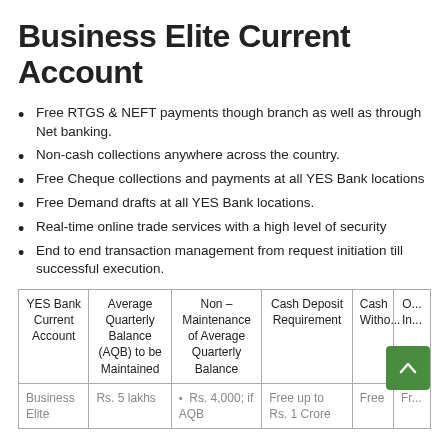Business Elite Current Account
Free RTGS & NEFT payments though branch as well as through Net banking.
Non-cash collections anywhere across the country.
Free Cheque collections and payments at all YES Bank locations
Free Demand drafts at all YES Bank locations.
Real-time online trade services with a high level of security
End to end transaction management from request initiation till successful execution.
| YES Bank Current Account | Average Quarterly Balance (AQB) to be Maintained | Non – Maintenance of Average Quarterly Balance | Cash Deposit Requirement | Cash Witho... W... India | O... In... |
| --- | --- | --- | --- | --- | --- |
| Business Elite | Rs. 5 lakhs | • Rs. 4,000; if AQB | Free up to Rs. 1 Crore | Free | Fr... |